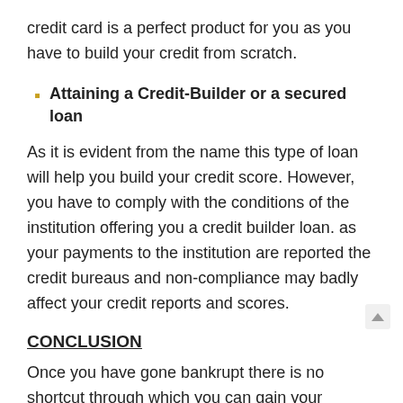credit card is a perfect product for you as you have to build your credit from scratch.
Attaining a Credit-Builder or a secured loan
As it is evident from the name this type of loan will help you build your credit score. However, you have to comply with the conditions of the institution offering you a credit builder loan. as your payments to the institution are reported the credit bureaus and non-compliance may badly affect your credit reports and scores.
CONCLUSION
Once you have gone bankrupt there is no shortcut through which you can gain your creditworthiness as you had before being declared bankrupt. scoring a good great credit score takes some reasonable time. By upon the credit building scores techniques mentioned